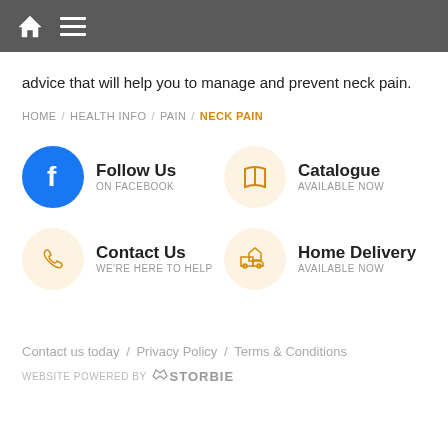Navigation bar with home icon and hamburger menu
advice that will help you to manage and prevent neck pain.
HOME / HEALTH INFO / PAIN / NECK PAIN
[Figure (infographic): Follow Us on Facebook icon with blue circle Facebook logo]
[Figure (infographic): Catalogue Available Now with orange book icon on cream circle]
[Figure (infographic): Contact Us We're Here to Help with orange phone icon on cream circle]
[Figure (infographic): Home Delivery Available Now with orange truck/house icon on cream circle]
Contact us today / Privacy Policy / Terms & Conditions
WEBSITE POWERED BY STORBIE